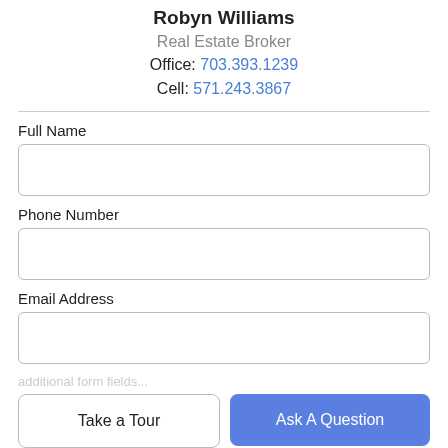Robyn Williams
Real Estate Broker
Office: 703.393.1239
Cell: 571.243.3867
Full Name
Phone Number
Email Address
Take a Tour
Ask A Question